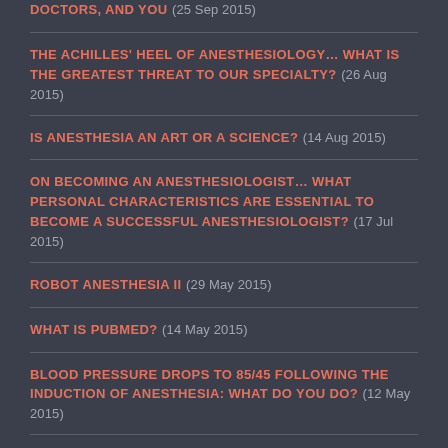DOCTORS, AND YOU (25 Sep 2015)
THE ACHILLES' HEEL OF ANESTHESIOLOGY… WHAT IS THE GREATEST THREAT TO OUR SPECIALTY? (26 Aug 2015)
IS ANESTHESIA AN ART OR A SCIENCE? (14 Aug 2015)
ON BECOMING AN ANESTHESIOLOGIST… WHAT PERSONAL CHARACTERISTICS ARE ESSENTIAL TO BECOME A SUCCESSFUL ANESTHESIOLOGIST? (17 Jul 2015)
ROBOT ANESTHESIA II (29 May 2015)
WHAT IS PUBMED? (14 May 2015)
BLOOD PRESSURE DROPS TO 85/45 FOLLOWING THE INDUCTION OF ANESTHESIA: WHAT DO YOU DO? (12 May 2015)
WILL YOU HAVE A BREATHING TUBE DOWN YOUR…